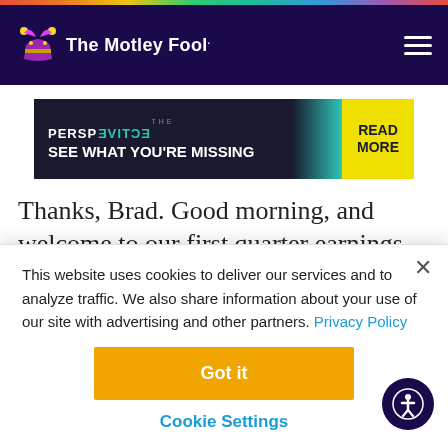[Figure (logo): The Motley Fool logo with jester hat on dark navy navigation bar with hamburger menu icon]
[Figure (infographic): The Perspective advertisement banner: 'THE PERSPECTIVE SEE WHAT YOU'RE MISSING' with READ MORE button on yellow background]
Thanks, Brad. Good morning, and welcome to our first quarter earnings conference call. This is
This website uses cookies to deliver our services and to analyze traffic. We also share information about your use of our site with advertising and other partners. Privacy Policy
Got it
Cookie Settings